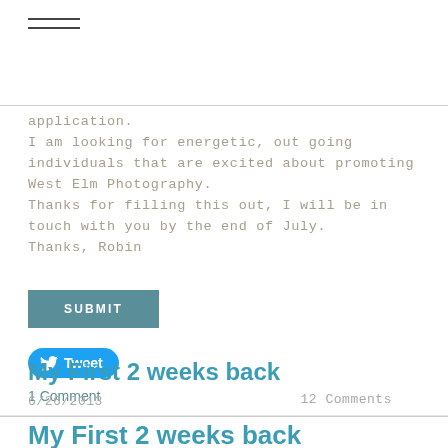≡ (hamburger menu icon)
application.
I am looking for energetic, out going individuals that are excited about promoting West Elm Photography.
Thanks for filling this out, I will be in touch with you by the end of July.
Thanks, Robin
[Figure (other): SUBMIT button (teal/dark cyan rectangle with white uppercase text)]
[Figure (other): Tweet button (blue pill-shaped button with Twitter bird icon and 'Tweet' text)]
1 Comment
My First 2 weeks back
6/26/2013    12 Comments